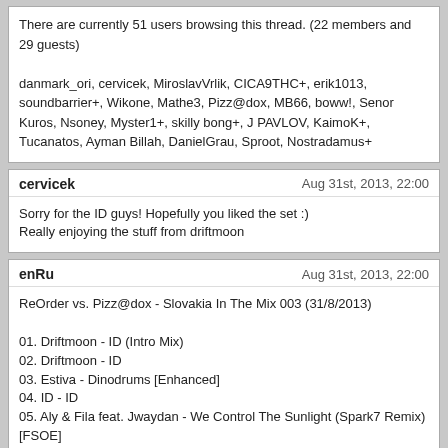There are currently 51 users browsing this thread. (22 members and 29 guests)

danmark_ori, cervicek, MiroslavVrlik, CICA9THC+, erik1013, soundbarrier+, Wikone, Mathe3, Pizz@dox, MB66, boww!, Senor Kuros, Nsoney, Myster1+, skilly bong+, J PAVLOV, KaimoK+, Tucanatos, Ayman Billah, DanielGrau, Sproot, Nostradamus+
cervicek
Aug 31st, 2013, 22:00
Sorry for the ID guys! Hopefully you liked the set :)
Really enjoying the stuff from driftmoon
enRu
Aug 31st, 2013, 22:00
ReOrder vs. Pizz@dox - Slovakia In The Mix 003 (31/8/2013)
01. Driftmoon - ID (Intro Mix)
02. Driftmoon - ID
03. Estiva - Dinodrums [Enhanced]
04. ID - ID
05. Aly & Fila feat. Jwaydan - We Control The Sunlight (Spark7 Remix) [FSOE]
06. Arisen Flame - Unity [ASOT]
07. Driftmoon & Andy Blueman feat. Dsharp - Exodus [Armind]
08. ReOrder feat. Ian Standerwick - Hidden In A Smile [Arisa Audio]
09. ID - ID
10. ID - ID
11. Kaimo K - Machette [Edge]
12. ID - ID
13. ID - ID
Sorry for the ID guys! Hopefully you liked the set :)
Was nice to hear some fine trance, thanks! enjoyed it
:replay: